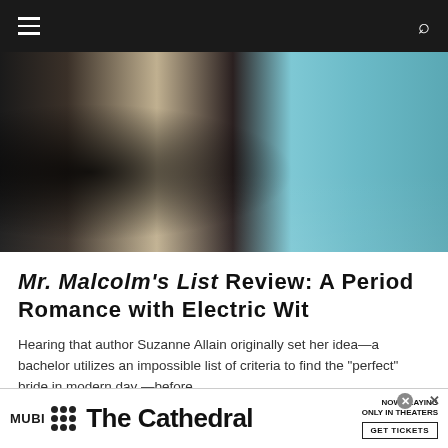Navigation bar with hamburger menu and search icon
[Figure (photo): Period romance scene showing figures in historical costume with horses, a man in dark coat and woman in light blue dress in an outdoor setting]
Mr. Malcolm's List Review: A Period Romance with Electric Wit
Hearing that author Suzanne Allain originally set her idea—a bachelor utilizes an impossible list of criteria to find the "perfect" bride in modern day —before ...
[Figure (photo): Dark cinematic image from The Cathedral film, showing a figure with fire/light elements]
[Figure (screenshot): MUBI advertisement banner for The Cathedral film, showing MUBI logo, film title, NOW PLAYING ONLY IN THEATERS label and GET TICKETS button]